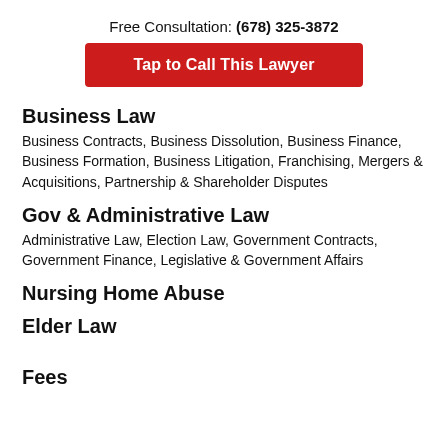Free Consultation: (678) 325-3872
[Figure (other): Red button: Tap to Call This Lawyer]
Business Law
Business Contracts, Business Dissolution, Business Finance, Business Formation, Business Litigation, Franchising, Mergers & Acquisitions, Partnership & Shareholder Disputes
Gov & Administrative Law
Administrative Law, Election Law, Government Contracts, Government Finance, Legislative & Government Affairs
Nursing Home Abuse
Elder Law
Fees